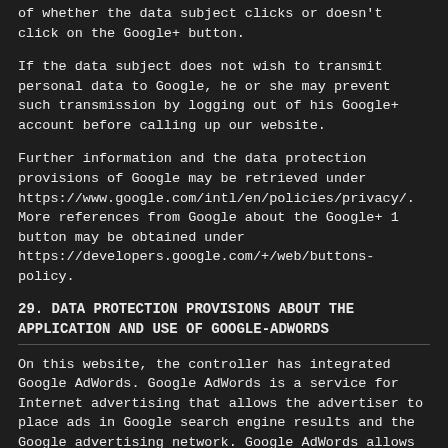of whether the data subject clicks or doesn't click on the Google+ button.
If the data subject does not wish to transmit personal data to Google, he or she may prevent such transmission by logging out of his Google+ account before calling up our website.
Further information and the data protection provisions of Google may be retrieved under https://www.google.com/intl/en/policies/privacy/. More references from Google about the Google+ 1 button may be obtained under https://developers.google.com/+/web/buttons-policy.
29. DATA PROTECTION PROVISIONS ABOUT THE APPLICATION AND USE OF GOOGLE-ADWORDS
On this website, the controller has integrated Google AdWords. Google AdWords is a service for Internet advertising that allows the advertiser to place ads in Google search engine results and the Google advertising network. Google AdWords allows an advertiser to pre-define specific keywords with the help of which an ad on Google's search results only then displayed, when the user utilizes the search engine to retrieve a keyword-relevant search result. In the Google Advertising Network, the ads are distributed on relevant web pages